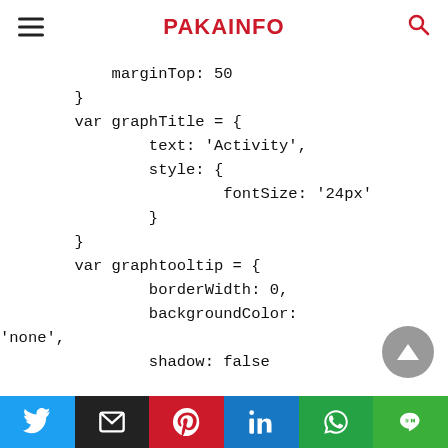PAKAINFO
marginTop: 50
        }
        var graphTitle = {
                text: 'Activity',
                style: {
                        fontSize: '24px'
                }
        }
        var graphtooltip = {
                borderWidth: 0,
                backgroundColor:
'none',
                shadow: false
Twitter | Email | Pinterest | LinkedIn | WhatsApp | LINE